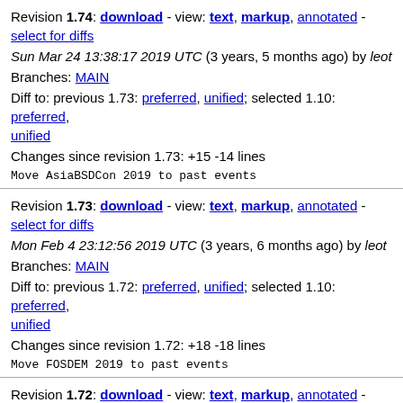Revision 1.74: download - view: text, markup, annotated - select for diffs
Sun Mar 24 13:38:17 2019 UTC (3 years, 5 months ago) by leot
Branches: MAIN
Diff to: previous 1.73: preferred, unified; selected 1.10: preferred, unified
Changes since revision 1.73: +15 -14 lines
Move AsiaBSDCon 2019 to past events
Revision 1.73: download - view: text, markup, annotated - select for diffs
Mon Feb 4 23:12:56 2019 UTC (3 years, 6 months ago) by leot
Branches: MAIN
Diff to: previous 1.72: preferred, unified; selected 1.10: preferred, unified
Changes since revision 1.72: +18 -18 lines
Move FOSDEM 2019 to past events
Revision 1.72: download - view: text, markup, annotated - select for diffs
Wed Jan 30 16:00:05 2019 UTC (3 years, 6 months ago) by leot
Branches: MAIN
Diff to: previous 1.71: preferred, unified; selected 1.10: preferred,
unified